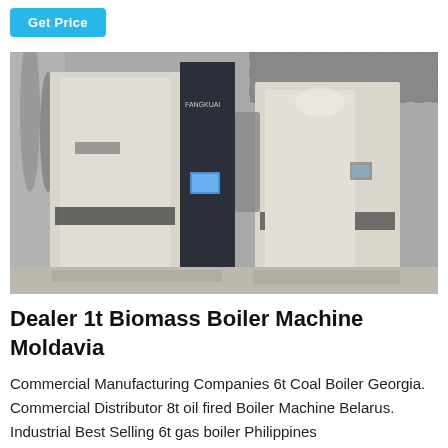Get Price
[Figure (photo): Industrial biomass boilers manufactured by Fangkuai, showing two large cream and dark-colored upright boiler units inside an industrial facility.]
Dealer 1t Biomass Boiler Machine Moldavia
Commercial Manufacturing Companies 6t Coal Boiler Georgia. Commercial Distributor 8t oil fired Boiler Machine Belarus. Industrial Best Selling 6t gas boiler Philippines